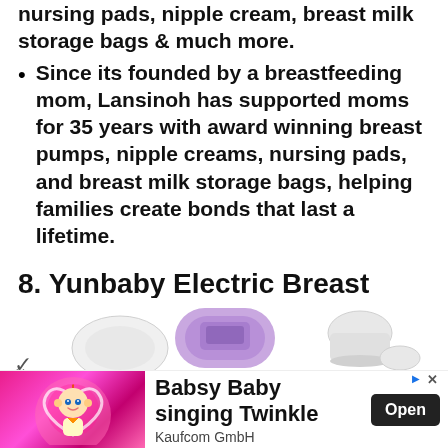nursing pads, nipple cream, breast milk storage bags & much more.
Since its founded by a breastfeeding mom, Lansinoh has supported moms for 35 years with award winning breast pumps, nipple creams, nursing pads, and breast milk storage bags, helping families create bonds that last a lifetime.
8. Yunbaby Electric Breast Pump
[Figure (photo): Product image of the Yunbaby Electric Breast Pump showing a purple/lavender wearable pump device alongside white accessories and containers]
[Figure (infographic): Advertisement banner: Babsy Baby singing Twinkle - Kaufcom GmbH with an animated baby character on pink background and an Open button]